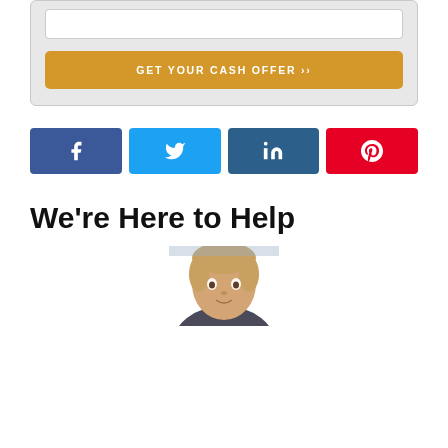[Figure (screenshot): Grey card area with white input box and gold CTA button labeled GET YOUR CASH OFFER >>]
[Figure (infographic): Row of four social share buttons: Facebook (blue), Twitter (light blue), LinkedIn (dark blue), Pinterest (red), each with their respective icons]
We’re Here to Help
[Figure (photo): Bottom portion of a person's head/face, appearing to be a man with light brown hair, cropped at the bottom of the page]